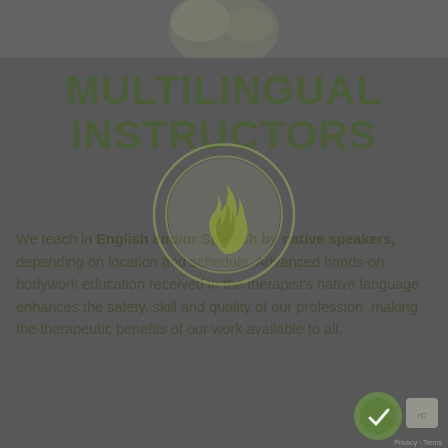[Figure (photo): Partial image visible at top of page, cropped hands or body, dark overlay]
MULTILINGUAL INSTRUCTORS
[Figure (logo): Circular logo with flame icon in olive/green colors, double ring border]
We teach in English and/or Spanish by native speakers, depending on location and schedule. Advanced hands-on bodywork education received in the therapist's native language enhances the safety, skill and quality of our profession, making the therapeutic benefits of our work available to all.
[Figure (logo): Green badge/logo in bottom right corner with reCAPTCHA or certification mark]